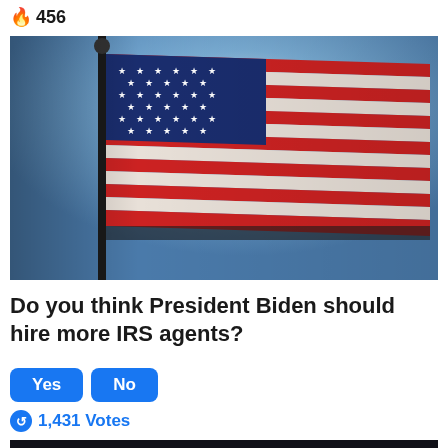🔥 456
[Figure (photo): American flag waving against a blue sky, photographed from below at an angle, showing stars and stripes in red, white, and blue]
Do you think President Biden should hire more IRS agents?
Yes  No
🔄 1,431 Votes
[Figure (photo): Football players wearing helmets, partial view at the bottom of the page]